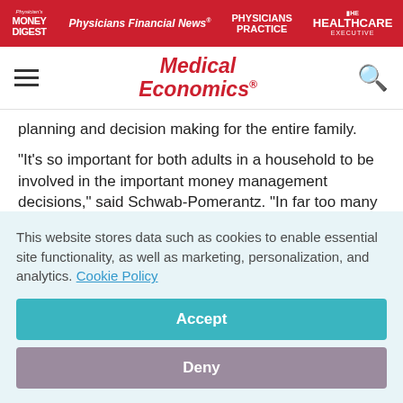Physician's Money Digest | Physicians Financial News | Physicians Practice | Healthcare Executive
[Figure (logo): Medical Economics logo with red italic text]
planning and decision making for the entire family.
"It's so important for both adults in a household to be involved in the important money management decisions," said Schwab-Pomerantz. "In far too many marriages, one spouse shoulders the primary responsibility and the other spouse has minimal involvement. In the event of death or divorce, the
This website stores data such as cookies to enable essential site functionality, as well as marketing, personalization, and analytics. Cookie Policy
Accept
Deny